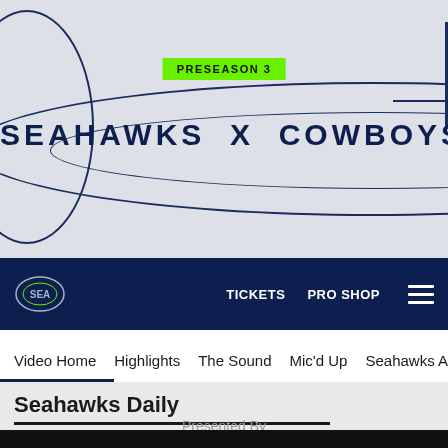[Figure (illustration): NFL Seahawks vs Cowboys Preseason 3 promotional hero banner with oval decorations, circle left, dark navy lines on light gray background]
PRESEASON 3
SEAHAWKS X COWBOYS
TICKETS   PRO SHOP
Video Home   Highlights   The Sound   Mic'd Up   Seahawks All Ac
Seahawks Daily
Presented By
[Figure (other): Black video player area]